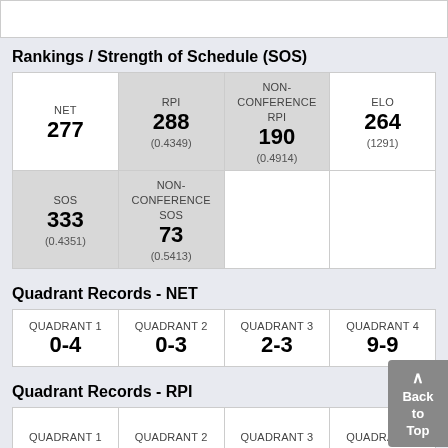Rankings / Strength of Schedule (SOS)
| NET | RPI | NON-CONFERENCE RPI | ELO |
| --- | --- | --- | --- |
| 277 | 288
(0.4349) | 190
(0.4914) | 264
(1291) |
| SOS
333
(0.4351) | NON-CONFERENCE SOS
73
(0.5413) |  |  |
Quadrant Records - NET
| QUADRANT 1 | QUADRANT 2 | QUADRANT 3 | QUADRANT 4 |
| --- | --- | --- | --- |
| 0-4 | 0-3 | 2-3 | 9-9 |
Quadrant Records - RPI
| QUADRANT 1 | QUADRANT 2 | QUADRANT 3 | QUADRANT 4 |
| --- | --- | --- | --- |
|  |  |  |  |